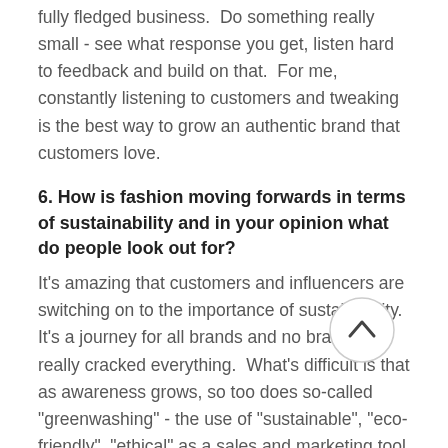fully fledged business.  Do something really small - see what response you get, listen hard to feedback and build on that.  For me, constantly listening to customers and tweaking is the best way to grow an authentic brand that customers love.
6. How is fashion moving forwards in terms of sustainability and in your opinion what do people look out for?
It's amazing that customers and influencers are switching on to the importance of sustainability.  It's a journey for all brands and no brand has really cracked everything.  What's difficult is that as awareness grows, so too does so-called "greenwashing" - the use of "sustainable", "eco-friendly", "ethical" as a sales and marketing tool for businesses that don't have sustainability at their core.  Customers should continue to ask questions of brands.  Where are their products made, how do they know that they're ethically produced, what packaging do they use?  I love discussing this with customers, and being challenged.  I learn